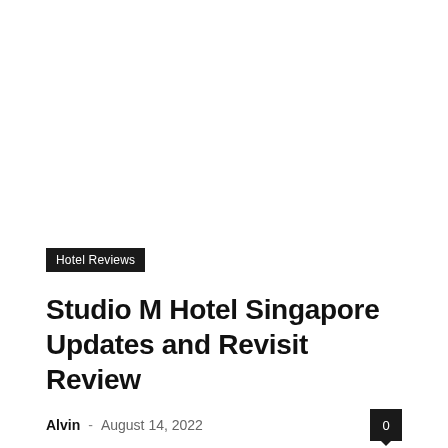[Figure (photo): White/blank image area at top of article page]
Hotel Reviews
Studio M Hotel Singapore Updates and Revisit Review
Alvin - August 14, 2022  0
What's new about Studio M Hotel as compared to my previous stay around January 2022? 10% OFF PROMO CODE at the end! I definitely